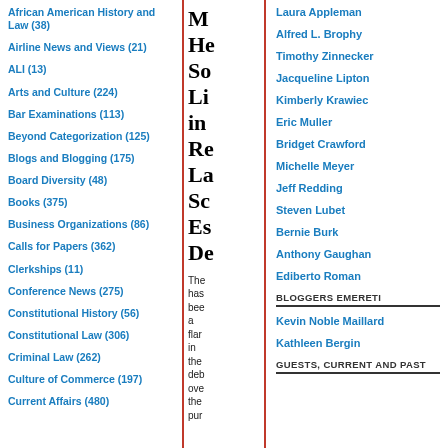African American History and Law (38)
Airline News and Views (21)
ALI (13)
Arts and Culture (224)
Bar Examinations (113)
Beyond Categorization (125)
Blogs and Blogging (175)
Board Diversity (48)
Books (375)
Business Organizations (86)
Calls for Papers (362)
Clerkships (11)
Conference News (275)
Constitutional History (56)
Constitutional Law (306)
Criminal Law (262)
Culture of Commerce (197)
Current Affairs (480)
[Figure (other): Partially visible blog post title and body text in center column]
Laura Appleman
Alfred L. Brophy
Timothy Zinnecker
Jacqueline Lipton
Kimberly Krawiec
Eric Muller
Bridget Crawford
Michelle Meyer
Jeff Redding
Steven Lubet
Bernie Burk
Anthony Gaughan
Ediberto Roman
BLOGGERS EMERETI
Kevin Noble Maillard
Kathleen Bergin
GUESTS, CURRENT AND PAST